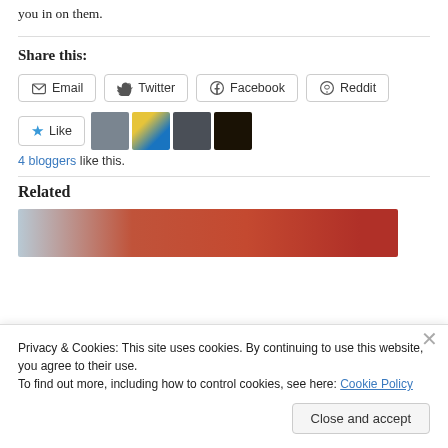you in on them.
Share this:
Email  Twitter  Facebook  Reddit
★ Like  [avatars: 4 bloggers]
4 bloggers like this.
Related
[Figure (photo): A related article image with reddish-brown tones, partially visible behind the cookie banner.]
Privacy & Cookies: This site uses cookies. By continuing to use this website, you agree to their use.
To find out more, including how to control cookies, see here: Cookie Policy